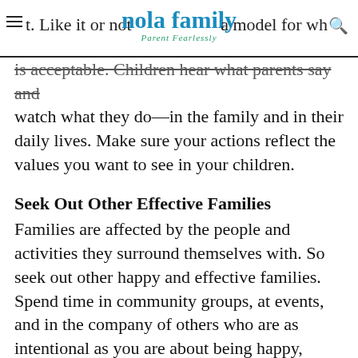nola family — Parent Fearlessly
t. Like it or not, you are a model for what is acceptable. Children hear what parents say and watch what they do—in the family and in their daily lives. Make sure your actions reflect the values you want to see in your children.
Seek Out Other Effective Families
Families are affected by the people and activities they surround themselves with. So seek out other happy and effective families. Spend time in community groups, at events, and in the company of others who are as intentional as you are about being happy, effective and healthy.
Remember, families are not made up of schedules and routines; they are made up of people and